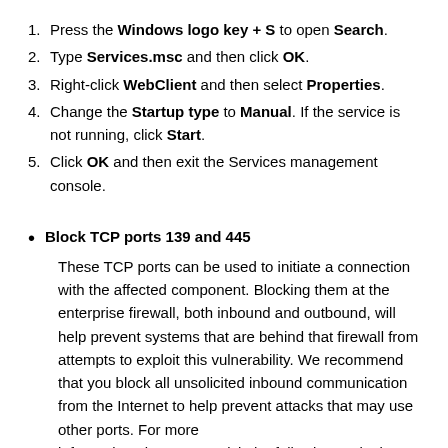1. Press the Windows logo key + S to open Search.
2. Type Services.msc and then click OK.
3. Right-click WebClient and then select Properties.
4. Change the Startup type to Manual. If the service is not running, click Start.
5. Click OK and then exit the Services management console.
Block TCP ports 139 and 445 — These TCP ports can be used to initiate a connection with the affected component. Blocking them at the enterprise firewall, both inbound and outbound, will help prevent systems that are behind that firewall from attempts to exploit this vulnerability. We recommend that you block all unsolicited inbound communication from the Internet to help prevent attacks that may use other ports. For more information about ports, visit the following Web site...